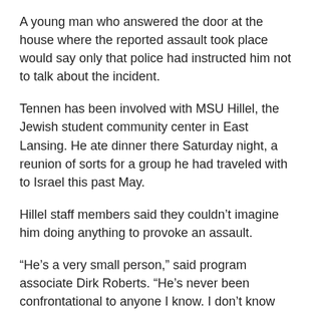A young man who answered the door at the house where the reported assault took place would say only that police had instructed him not to talk about the incident.
Tennen has been involved with MSU Hillel, the Jewish student community center in East Lansing. He ate dinner there Saturday night, a reunion of sorts for a group he had traveled with to Israel this past May.
Hillel staff members said they couldn’t imagine him doing anything to provoke an assault.
“He’s a very small person,” said program associate Dirk Roberts. “He’s never been confrontational to anyone I know. I don’t know what could have warranted the actions that were taken.”
“I just hope that these kids get found and I hope they’re